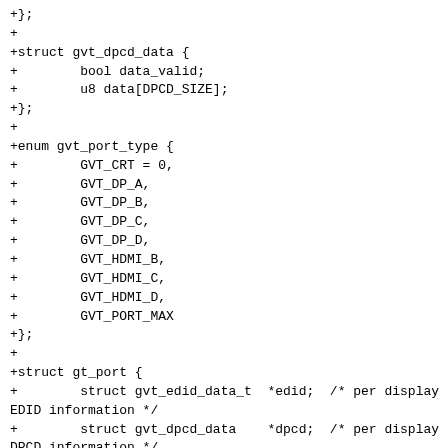+};
+
+struct gvt_dpcd_data {
+        bool data_valid;
+        u8 data[DPCD_SIZE];
+};
+
+enum gvt_port_type {
+        GVT_CRT = 0,
+        GVT_DP_A,
+        GVT_DP_B,
+        GVT_DP_C,
+        GVT_DP_D,
+        GVT_HDMI_B,
+        GVT_HDMI_C,
+        GVT_HDMI_D,
+        GVT_PORT_MAX
+};
+
+struct gt_port {
+        struct gvt_edid_data_t  *edid;  /* per display EDID information */
+        struct gvt_dpcd_data    *dpcd;  /* per display DPCD information */
+        enum gvt_port_type      type;
+};
+
+extern int gvt_get_edp_pipe(struct vgt_device *vgt);
+extern bool gvt_edp_pipe_is_enabled(struct vgt_device *vgt);